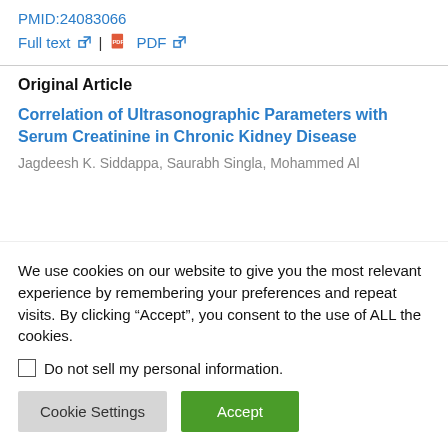PMID:24083066
Full text | PDF
Original Article
Correlation of Ultrasonographic Parameters with Serum Creatinine in Chronic Kidney Disease
Jagdeesh K. Siddappa, Saurabh Singla, Mohammed Al
We use cookies on our website to give you the most relevant experience by remembering your preferences and repeat visits. By clicking “Accept”, you consent to the use of ALL the cookies.
Do not sell my personal information.
Cookie Settings | Accept